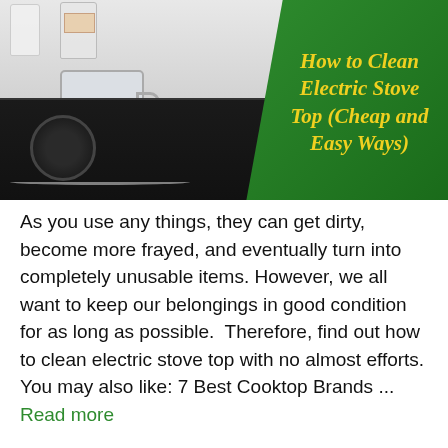[Figure (photo): Photo of an electric stove top with a mug and cleaning supplies on a shelf above it, with a green overlay in the top-right corner containing the article title 'How to Clean Electric Stove Top (Cheap and Easy Ways)' in bold italic yellow text.]
How to Clean Electric Stove Top (Cheap and Easy Ways)
As you use any things, they can get dirty, become more frayed, and eventually turn into completely unusable items. However, we all want to keep our belongings in good condition for as long as possible.  Therefore, find out how to clean electric stove top with no almost efforts. You may also like: 7 Best Cooktop Brands ... Read more